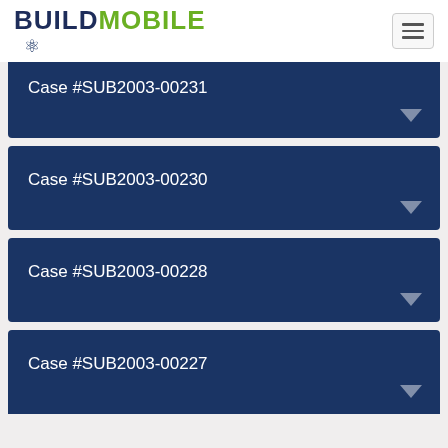BUILDMOBILE
Case #SUB2003-00231
Case #SUB2003-00230
Case #SUB2003-00228
Case #SUB2003-00227